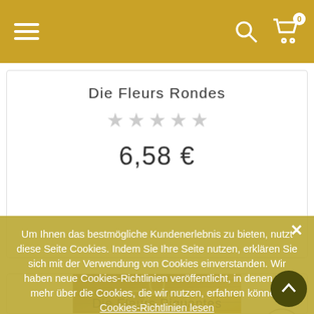Navigation bar with hamburger menu, search icon, and cart icon with badge 0
Die Fleurs Rondes
★★★★★
6,58 €
[Figure (photo): Product photo of metallic flower-shaped cookie cutter on wooden background]
Um Ihnen das bestmögliche Kundenerlebnis zu bieten, nutzt diese Seite Cookies. Indem Sie Ihre Seite nutzen, erklären Sie sich mit der Verwendung von Cookies einverstanden. Wir haben neue Cookies-Richtlinien veröffentlicht, in denen Sie mehr über die Cookies, die wir nutzen, erfahren können. Cookies-Richtlinien lesen
Ok
Die Fleurs Piquantes